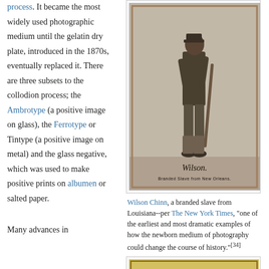process. It became the most widely used photographic medium until the gelatin dry plate, introduced in the 1870s, eventually replaced it. There are three subsets to the collodion process; the Ambrotype (a positive image on glass), the Ferrotype or Tintype (a positive image on metal) and the glass negative, which was used to make positive prints on albumen or salted paper.
[Figure (photo): Historical photograph of Wilson Chinn, a branded slave from New Orleans, standing with a tool. The photo is mounted on card and captioned 'Wilson.' and 'Branded Slave from New Orleans.']
Wilson Chinn, a branded slave from Louisiana--per The New York Times, "one of the earliest and most dramatic examples of how the newborn medium of photography could change the course of history."[34]
[Figure (photo): Partial view of a second historical photograph with a yellowish/golden toned image.]
Many advances in